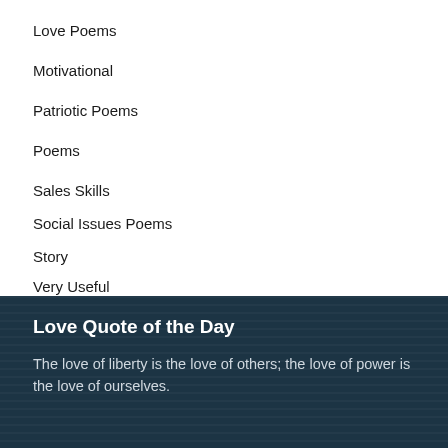Love Poems
Motivational
Patriotic Poems
Poems
Sales Skills
Social Issues Poems
Story
Very Useful
Worship
Love Quote of the Day
The love of liberty is the love of others; the love of power is the love of ourselves.